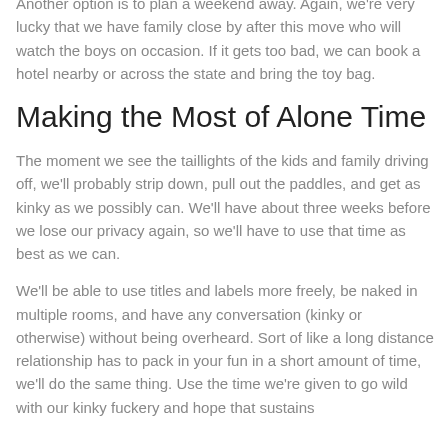Another option is to plan a weekend away. Again, we're very lucky that we have family close by after this move who will watch the boys on occasion. If it gets too bad, we can book a hotel nearby or across the state and bring the toy bag.
Making the Most of Alone Time
The moment we see the taillights of the kids and family driving off, we'll probably strip down, pull out the paddles, and get as kinky as we possibly can. We'll have about three weeks before we lose our privacy again, so we'll have to use that time as best as we can.
We'll be able to use titles and labels more freely, be naked in multiple rooms, and have any conversation (kinky or otherwise) without being overheard. Sort of like a long distance relationship has to pack in your fun in a short amount of time, we'll do the same thing. Use the time we're given to go wild with our kinky fuckery and hope that sustains